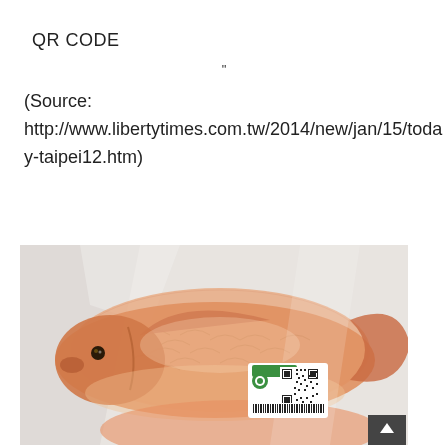QR CODE
"
(Source: http://www.libertytimes.com.tw/2014/new/jan/15/today-taipei12.htm)
[Figure (photo): Packaged red tilapia fish in a clear plastic bag with a QR code label attached. The fish are whole, with visible scales and orange-red coloring.]